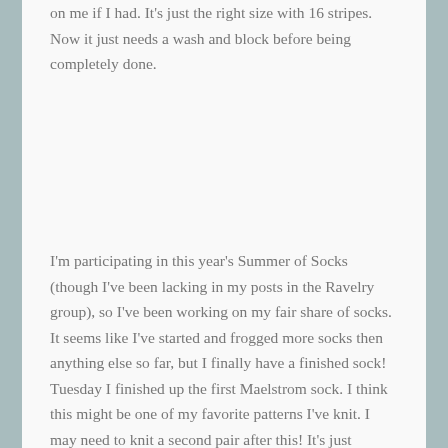on me if I had. It's just the right size with 16 stripes. Now it just needs a wash and block before being completely done.
I'm participating in this year's Summer of Socks (though I've been lacking in my posts in the Ravelry group), so I've been working on my fair share of socks. It seems like I've started and frogged more socks then anything else so far, but I finally have a finished sock! Tuesday I finished up the first Maelstrom sock. I think this might be one of my favorite patterns I've knit. I may need to knit a second pair after this! It's just enough to keep my interest, but not too much that it needs a lot of concentration. I haven't started the second sock, yet. I